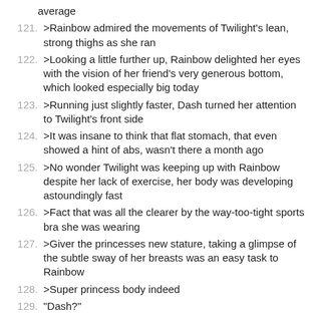average
121. >Rainbow admired the movements of Twilight's lean, strong thighs as she ran
122. >Looking a little further up, Rainbow delighted her eyes with the vision of her friend's very generous bottom, which looked especially big today
123. >Running just slightly faster, Dash turned her attention to Twilight's front side
124. >It was insane to think that flat stomach, that even showed a hint of abs, wasn't there a month ago
125. >No wonder Twilight was keeping up with Rainbow despite her lack of exercise, her body was developing astoundingly fast
126. >Fact that was all the clearer by the way-too-tight sports bra she was wearing
127. >Giver the princesses new stature, taking a glimpse of the subtle sway of her breasts was an easy task to Rainbow
128. >Super princess body indeed
129. "Dash?"
130. >"Oh, what was that?" Rainbow said, now aware